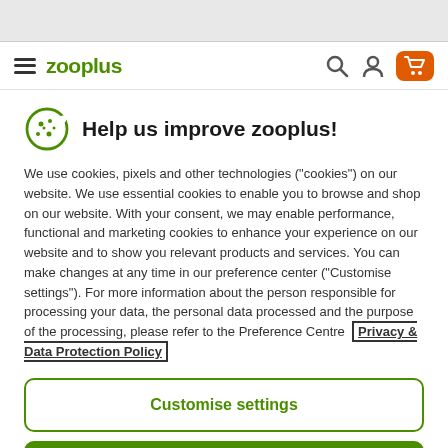[Figure (screenshot): Browser top bar (grey)]
zooplus
Help us improve zooplus!
We use cookies, pixels and other technologies ("cookies") on our website. We use essential cookies to enable you to browse and shop on our website. With your consent, we may enable performance, functional and marketing cookies to enhance your experience on our website and to show you relevant products and services. You can make changes at any time in our preference center ("Customise settings"). For more information about the person responsible for processing your data, the personal data processed and the purpose of the processing, please refer to the Preference Centre  Privacy & Data Protection Policy
Customise settings
Agree and continue
Only necessary cookies